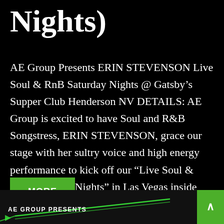Nights)
AE Group Presents ERIN STEVENSON Live Soul & RnB Saturday Nights @ Gatsby’s Supper Club Henderson NV DETAILS: AE Group is excited to have Soul and R&B Songstress, ERIN STEVENSON, grace our stage with her sultry voice and high energy performance to kick off our “Live Soul & RnB Saturday Nights” in Las Vegas inside [...]
MORE
AE GROUP PRESENTS